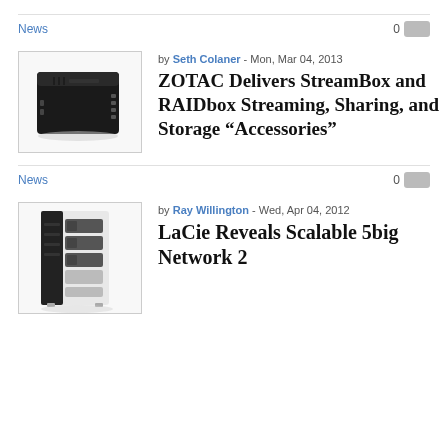News  0
by Seth Colaner - Mon, Mar 04, 2013
ZOTAC Delivers StreamBox and RAIDbox Streaming, Sharing, and Storage "Accessories"
[Figure (photo): Photo of a small black ZOTAC box/mini PC device]
News  0
by Ray Willington - Wed, Apr 04, 2012
LaCie Reveals Scalable 5big Network 2
[Figure (photo): Photo of a LaCie 5big Network 2 storage device, white tower with drives]